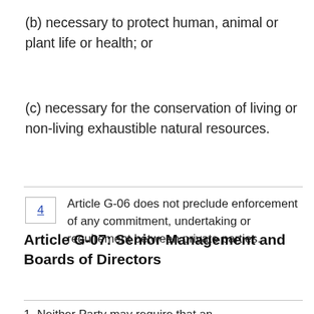(b) necessary to protect human, animal or plant life or health; or
(c) necessary for the conservation of living or non-living exhaustible natural resources.
4  Article G-06 does not preclude enforcement of any commitment, undertaking or requirement between private parties.
Article G-07: Senior Management and Boards of Directors
1. Neither Party may require that an